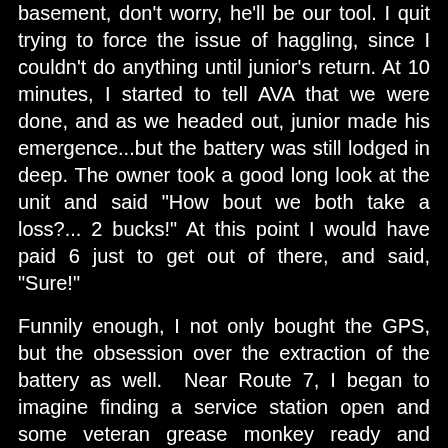basement, don't worry, he'll be our tool. I quit trying to force the issue of haggling, since I couldn't do anything until junior's return. At 10 minutes, I started to tell AVA that we were done, and as we headed out, junior made his emergence...but the battery was still lodged in deep. The owner took a good long look at the unit and said "How bout we both take a loss?... 2 bucks!" At this point I would have paid 6 just to get out of there, and said, "Sure!"
Funnily enough, I not only bought the GPS, but the obsession over the extraction of the battery as well. Near Route 7, I began to imagine finding a service station open and some veteran grease monkey ready and sympathetic with the right tool to pop out this Dur-rust-cell. We were at the point of our afternoon where my partner begins demanding that her weight in ice cream is the only thing that will keep her in her seat. I usually try to beg her off in order to keep from succumbing to the elitist pricing of Cold Stone and others like it. I am well aware that her favorite flavor is Bribery. Fortunately, 2 miles up the road was a small ice cream shop and a service station next door. Parked in the back we made our way to the most senior and greasiest mechanic we could find. "Tom" emerged as we got close